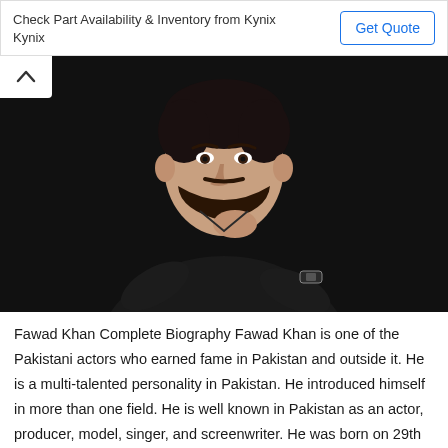[Figure (other): Advertisement banner: 'Check Part Availability & Inventory from Kynix Kynix' with a 'Get Quote' button]
[Figure (photo): Portrait photo of Fawad Khan, a Pakistani actor, in a dark shirt against a dark background, chin resting on hand, with a watch visible on wrist.]
Fawad Khan Complete Biography Fawad Khan is one of the Pakistani actors who earned fame in Pakistan and outside it. He is a multi-talented personality in Pakistan. He introduced himself in more than one field. He is well known in Pakistan as an actor, producer, model, singer, and screenwriter. He was born on 29th November